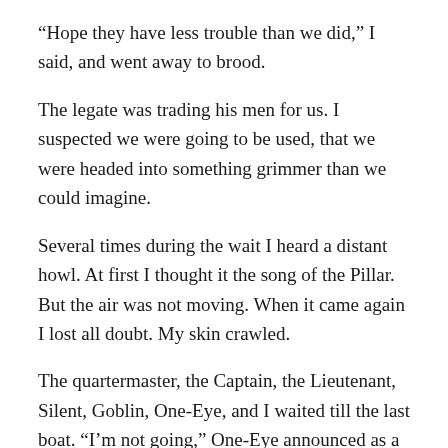“Hope they have less trouble than we did,” I said, and went away to brood.
The legate was trading his men for us. I suspected we were going to be used, that we were headed into something grimmer than we could imagine.
Several times during the wait I heard a distant howl. At first I thought it the song of the Pillar. But the air was not moving. When it came again I lost all doubt. My skin crawled.
The quartermaster, the Captain, the Lieutenant, Silent, Goblin, One-Eye, and I waited till the last boat. “I’m not going,” One-Eye announced as a boatswain beckoned us to board.
“Get in,” the Captain told him. His voice was gentle.